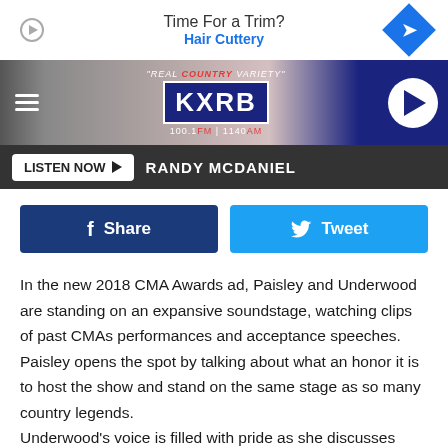[Figure (screenshot): Advertisement banner: 'Time For a Trim? Hair Cuttery' with play icon on left and blue diamond navigation icon on right]
[Figure (logo): KXRB 'Real Country Variety' radio station logo with 100.1 FM | 1140 AM frequencies, hamburger menu on left, play button on right]
LISTEN NOW ▶  RANDY MCDANIEL
[Figure (infographic): Facebook Share button (dark blue) and Twitter Tweet button (light blue)]
In the new 2018 CMA Awards ad, Paisley and Underwood are standing on an expansive soundstage, watching clips of past CMAs performances and acceptance speeches. Paisley opens the spot by talking about what an honor it is to host the show and stand on the same stage as so many country legends.
Underwood's voice is filled with pride as she discusses what